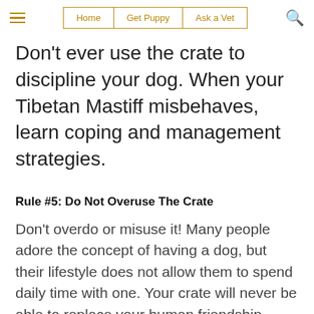Home | Get Puppy | Ask a Vet
Don't ever use the crate to discipline your dog. When your Tibetan Mastiff misbehaves, learn coping and management strategies.
Rule #5: Do Not Overuse The Crate
Don't overdo or misuse it! Many people adore the concept of having a dog, but their lifestyle does not allow them to spend daily time with one. Your crate will never be able to replace your human friendship. Consider how many hours per day your potential puppy will be required to be crated